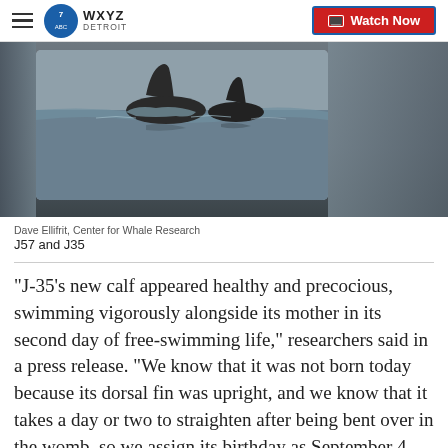WXYZ Detroit — Watch Now
[Figure (photo): Black and white photograph of two orcas (J57 and J35) swimming at the ocean surface, showing dorsal fins above water with splashing waves.]
Dave Ellifrit, Center for Whale Research
J57 and J35
"J-35's new calf appeared healthy and precocious, swimming vigorously alongside its mother in its second day of free-swimming life," researchers said in a press release. "We know that it was not born today because its dorsal fin was upright, and we know that it takes a day or two to straighten after being bent over in the womb, so we assign its birthday as September 4,